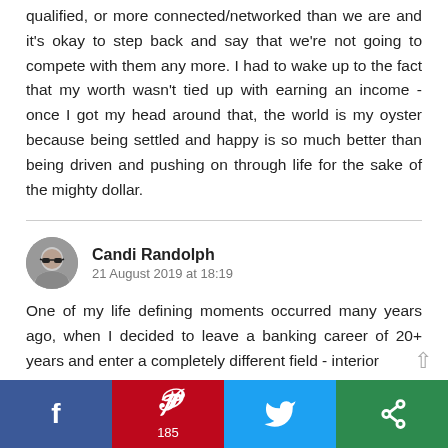qualified, or more connected/networked than we are and it's okay to step back and say that we're not going to compete with them any more. I had to wake up to the fact that my worth wasn't tied up with earning an income - once I got my head around that, the world is my oyster because being settled and happy is so much better than being driven and pushing on through life for the sake of the mighty dollar.
Candi Randolph
21 August 2019 at 18:19
One of my life defining moments occurred many years ago, when I decided to leave a banking career of 20+ years and enter a completely different field - interior